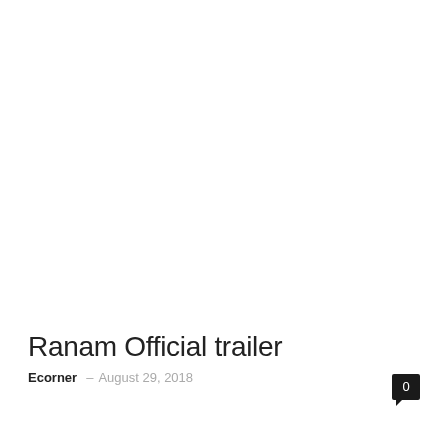Ranam Official trailer
Ecorner – August 29, 2018
[Figure (other): Comment count badge showing '0' in a black speech bubble / bookmark shape]